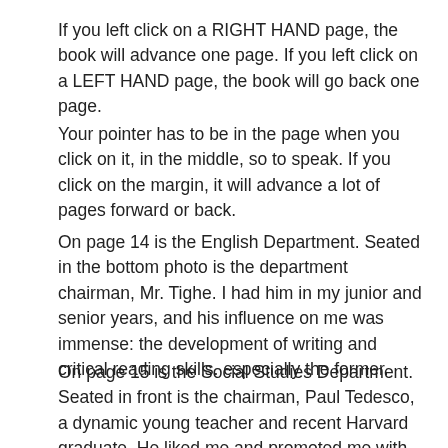If you left click on a RIGHT HAND page, the book will advance one page. If you left click on a LEFT HAND page, the book will go back one page.
Your pointer has to be in the page when you click on it, in the middle, so to speak. If you click on the margin, it will advance a lot of pages forward or back.
On page 14 is the English Department. Seated in the bottom photo is the department chairman, Mr. Tighe. I had him in my junior and senior years, and his influence on me was immense: the development of writing and critical reading skills. especially the former.
On page 15 is the Social Studies Department. Seated in front is the chairman, Paul Tedesco, a dynamic young teacher and recent Harvard graduate. He liked me and promoted me with respect to getting a scholarship for excellence in American